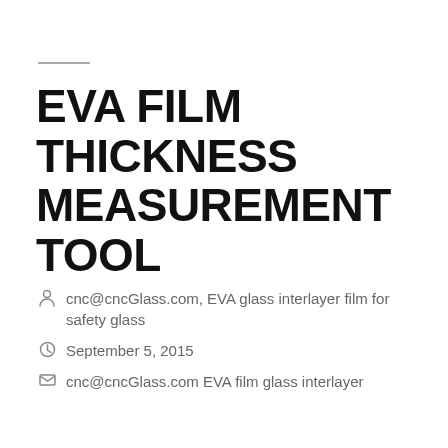EVA FILM THICKNESS MEASUREMENT TOOL
cnc@cncGlass.com, EVA glass interlayer film for safety glass
September 5, 2015
cnc@cncGlass.com EVA film glass interlayer